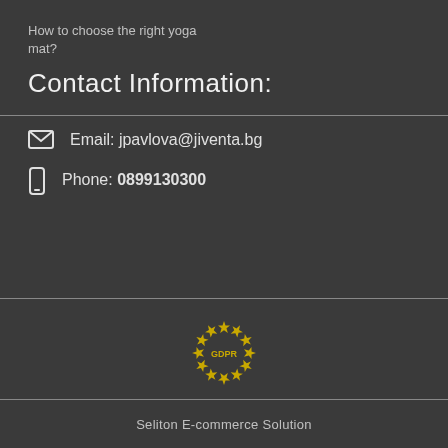How to choose the right yoga mat?
Contact Information:
Email: jpavlova@jiventa.bg
Phone: 0899130300
[Figure (logo): GDPR compliance badge with golden stars arranged in a circle and 'GDPR' text in the center]
Our website is GDPR compliant.
Read our policy.
My personal data
Seliton E-commerce Solution